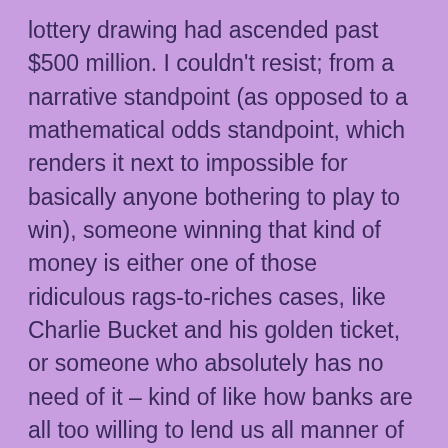lottery drawing had ascended past $500 million. I couldn't resist; from a narrative standpoint (as opposed to a mathematical odds standpoint, which renders it next to impossible for basically anyone bothering to play to win), someone winning that kind of money is either one of those ridiculous rags-to-riches cases, like Charlie Bucket and his golden ticket, or someone who absolutely has no need of it – kind of like how banks are all too willing to lend us all manner of funds (you would not – or maybe you would – believe the emails I'm getting out of the blue these days). It's like someone handing your life preserver while you're walking on the beach; it's ridiculous.
Anyway, I confess to having bought a couple, and sticking it in the grocery bag. However, by the time I emptied it upon returning home, I couldn't find a ticket